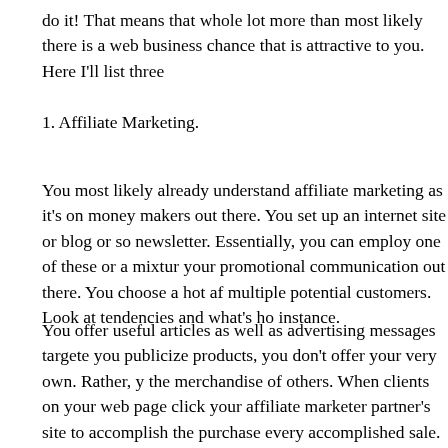do it! That means that whole lot more than most likely there is a web business chance that is attractive to you. Here I'll list three
1. Affiliate Marketing.
You most likely already understand affiliate marketing as it's on money makers out there. You set up an internet site or blog or so newsletter. Essentially, you can employ one of these or a mixtur your promotional communication out there. You choose a hot af multiple potential customers. Look at tendencies and what's ho instance.
You offer useful articles as well as advertising messages targete you publicize products, you don't offer your very own. Rather, y the merchandise of others. When clients on your web page click your affiliate marketer partner's site to accomplish the purchase every accomplished sale. You don't have to be concerned about service. Be assured to check out and sign up for top affiliate ma and CLAffiliate to understand all the diverse products you can